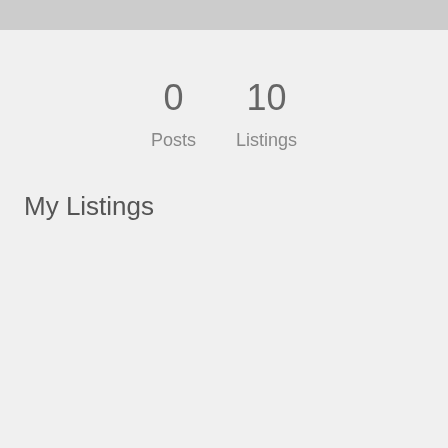0
Posts
10
Listings
My Listings